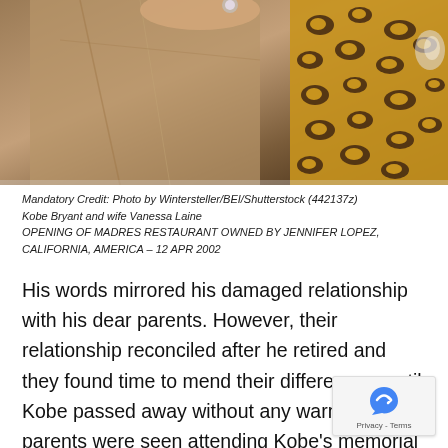[Figure (photo): Photo of Kobe Bryant and wife Vanessa Laine at the opening of Madres Restaurant. A hand with a ring is visible, and someone in a leopard-print outfit is in the background.]
Mandatory Credit: Photo by Wintersteller/BEI/Shutterstock (442137z)
Kobe Bryant and wife Vanessa Laine
OPENING OF MADRES RESTAURANT OWNED BY JENNIFER LOPEZ, CALIFORNIA, AMERICA – 12 APR 2002
His words mirrored his damaged relationship with his dear parents. However, their relationship reconciled after he retired and they found time to mend their differences, until Kobe passed away without any warning. His parents were seen attending Kobe's memorial service to bid their son goodbye, for one last time. Rest in Peace, Mamba.